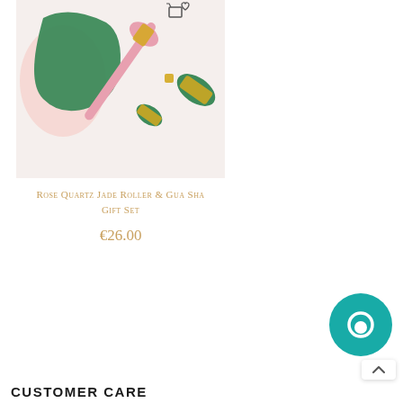[Figure (photo): Rose quartz jade roller and gua sha facial massage tools on white background]
Rose Quartz Jade Roller & Gua Sha Gift Set
€26.00
[Figure (other): Teal chat widget button with message bubble icon]
CUSTOMER CARE